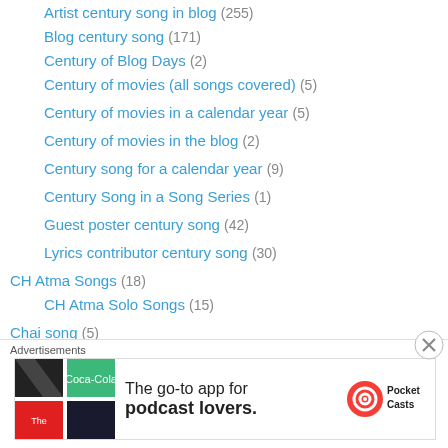Artist century song in blog (255)
Blog century song (171)
Century of Blog Days (2)
Century of movies (all songs covered) (5)
Century of movies in a calendar year (5)
Century of movies in the blog (2)
Century song for a calendar year (9)
Century Song in a Song Series (1)
Guest poster century song (42)
Lyrics contributor century song (30)
CH Atma Songs (18)
CH Atma Solo Songs (15)
Chai song (5)
Chakki song (5)
Chandrani Mukherji Songs (17)
Chandrani Mukherji Solo (9)
Chee Bait song (1)
[Figure (screenshot): Pocket Casts advertisement banner: 'The go-to app for podcast lovers.' with Pocket Casts logo and colorful tile logo on left.]